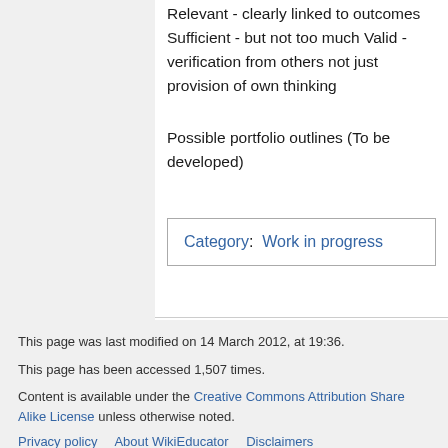Relevant - clearly linked to outcomes Sufficient - but not too much Valid - verification from others not just provision of own thinking
Possible portfolio outlines (To be developed)
Category:  Work in progress
This page was last modified on 14 March 2012, at 19:36.
This page has been accessed 1,507 times.
Content is available under the Creative Commons Attribution Share Alike License unless otherwise noted.
Privacy policy   About WikiEducator   Disclaimers